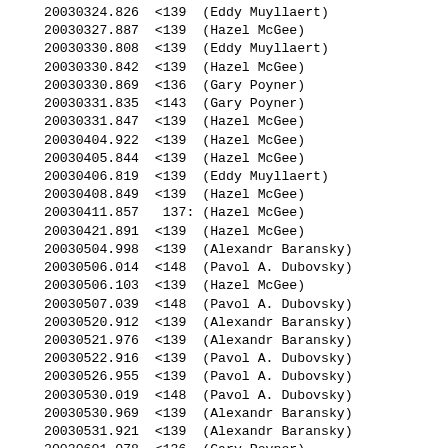20030324.826  <139  (Eddy Muyllaert)
20030327.887  <139  (Hazel McGee)
20030330.808  <139  (Eddy Muyllaert)
20030330.842  <139  (Hazel McGee)
20030330.869  <136  (Gary Poyner)
20030331.835  <143  (Gary Poyner)
20030331.847  <139  (Hazel McGee)
20030404.922  <139  (Hazel McGee)
20030405.844  <139  (Hazel McGee)
20030406.819  <139  (Eddy Muyllaert)
20030408.849  <139  (Hazel McGee)
20030411.857   137: (Hazel McGee)
20030421.891  <139  (Hazel McGee)
20030504.998  <139  (Alexandr Baransky)
20030506.014  <148  (Pavol A. Dubovsky)
20030506.103  <139  (Hazel McGee)
20030507.039  <148  (Pavol A. Dubovsky)
20030520.912  <139  (Alexandr Baransky)
20030521.976  <139  (Alexandr Baransky)
20030522.916  <139  (Pavol A. Dubovsky)
20030526.955  <139  (Pavol A. Dubovsky)
20030530.019  <148  (Pavol A. Dubovsky)
20030530.969  <139  (Alexandr Baransky)
20030531.921  <139  (Alexandr Baransky)
20030601.078  <136  (Gary Poyner)
20030604.983  <139  (Pavol A. Dubovsky)
20030605.994  <148  (Pavol A. Dubovsky)
20030607.919  <137  (Alexandr Baransky)
20030607.998  <148  (Pavol A. Dubovsky)
20030609.001  <148  (Pavol A. Dubovsky)